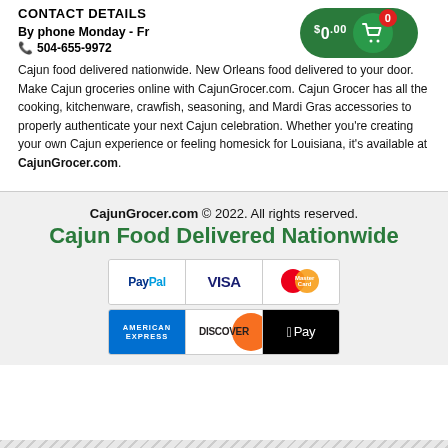CONTACT DETAILS
By phone Monday - Fr...
[Figure (other): Shopping cart widget showing $0.00 with a green pill-shaped button and cart icon with 0 badge]
504-655-9972
Cajun food delivered nationwide. New Orleans food delivered to your door. Make Cajun groceries online with CajunGrocer.com. Cajun Grocer has all the cooking, kitchenware, crawfish, seasoning, and Mardi Gras accessories to properly authenticate your next Cajun celebration. Whether you're creating your own Cajun experience or feeling homesick for Louisiana, it's available at CajunGrocer.com.
CajunGrocer.com © 2022. All rights reserved.
Cajun Food Delivered Nationwide
[Figure (other): Payment method icons: PayPal, VISA, MasterCard, American Express, Discover, Apple Pay]